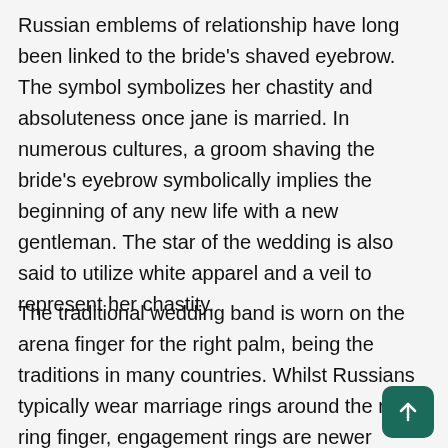Russian emblems of relationship have long been linked to the bride's shaved eyebrow. The symbol symbolizes her chastity and absoluteness once jane is married. In numerous cultures, a groom shaving the bride's eyebrow symbolically implies the beginning of any new life with a new gentleman. The star of the wedding is also said to utilize white apparel and a veil to represent her chastity.
The traditional wedding band is worn on the arena finger for the right palm, being the traditions in many countries. Whilst Russians typically wear marriage rings around the ring ring finger, engagement rings are newer traditions. The Western traditions of introducing the gemstone to the star of the wedding,